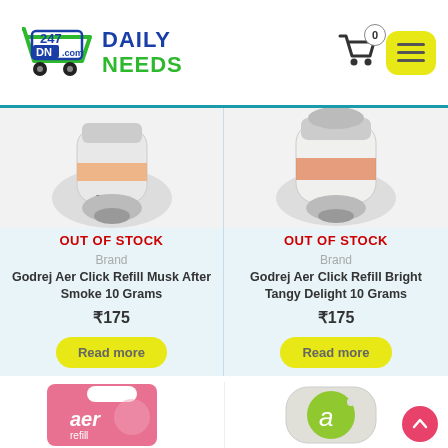247 Daily Needs DN.com — logo and navigation header
OUT OF STOCK
Brand
Godrej Aer Click Refill Musk After Smoke 10 Grams
₹175
Read more
OUT OF STOCK
Brand
Godrej Aer Click Refill Bright Tangy Delight 10 Grams
₹175
Read more
[Figure (photo): Godrej Aer product package with pink/magenta packaging showing aer refill logo]
[Figure (photo): Godrej Aer Click device in silver with green aer logo button]